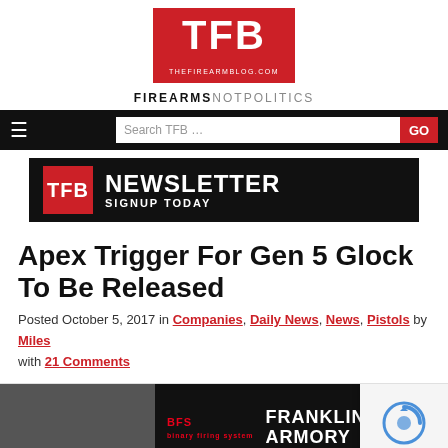[Figure (logo): TFB (The Firearm Blog) logo — red box with white TFB letters, thefirearmblog.com URL below, FIREARMS NOT POLITICS tagline]
[Figure (screenshot): Navigation bar with hamburger menu icon, search box reading 'Search TFB ...', and red GO button]
[Figure (infographic): TFB Newsletter Signup Today banner in black with red TFB box]
Apex Trigger For Gen 5 Glock To Be Released
Posted October 5, 2017 in Companies, Daily News, News, Pistols by Miles with 21 Comments
[Figure (photo): Article image area with Franklin Armory advertisement showing a shooter and logo]